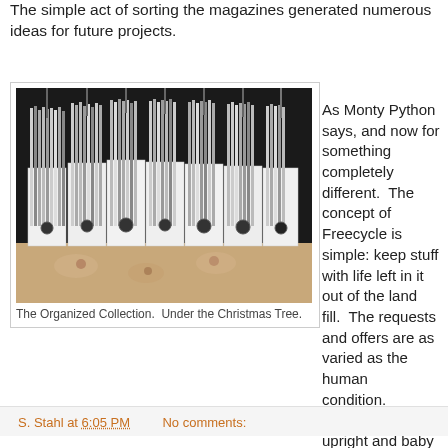The simple act of sorting the magazines generated numerous ideas for future projects.
[Figure (photo): Photo of magazines organized in white magazine holders/binders standing upright on a floral patterned carpet under a Christmas tree]
The Organized Collection.  Under the Christmas Tree.
As Monty Python says, and now for something completely different.  The concept of Freecycle is simple: keep stuff with life left in it out of the land fill.  The requests and offers are as varied as the human condition.  Several times upright and baby grand pianos have been offered; I would have one if there were enough local friends to impose on.
S. Stahl at 6:05 PM    No comments: